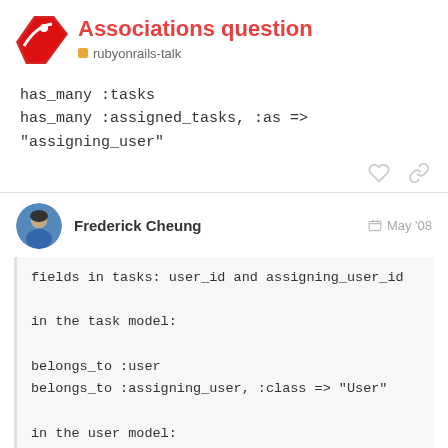Associations question
rubyonrails-talk
has_many :tasks
has_many :assigned_tasks, :as => "assigning_user"
Frederick Cheung  May '08
fields in tasks: user_id and assigning_user_id

in the task model:

belongs_to :user
belongs_to :assigning_user, :class => "User"

in the user model:

has_many :tasks
has_many :assigned_tasks, :as => "ass
1 / 4